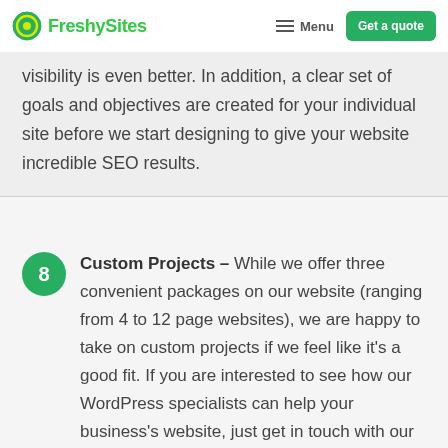FreshySites | Menu | Get a quote
visibility is even better. In addition, a clear set of goals and objectives are created for your individual site before we start designing to give your website incredible SEO results.
8 Custom Projects – While we offer three convenient packages on our website (ranging from 4 to 12 page websites), we are happy to take on custom projects if we feel like it's a good fit. If you are interested to see how our WordPress specialists can help your business's website, just get in touch with our team and let us know what